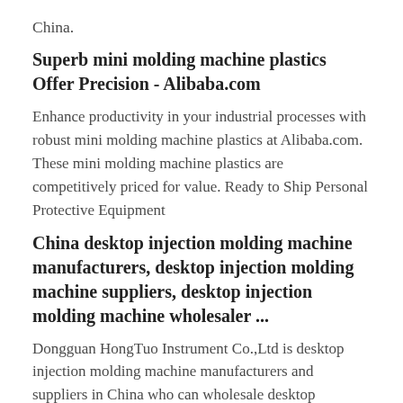China.
Superb mini molding machine plastics Offer Precision - Alibaba.com
Enhance productivity in your industrial processes with robust mini molding machine plastics at Alibaba.com. These mini molding machine plastics are competitively priced for value. Ready to Ship Personal Protective Equipment
China desktop injection molding machine manufacturers, desktop injection molding machine suppliers, desktop injection molding machine wholesaler ...
Dongguan HongTuo Instrument Co.,Ltd is desktop injection molding machine manufacturers and suppliers in China who can wholesale desktop injection molding machine.We can provide professional service and better price for you. If you interested in desktop injection